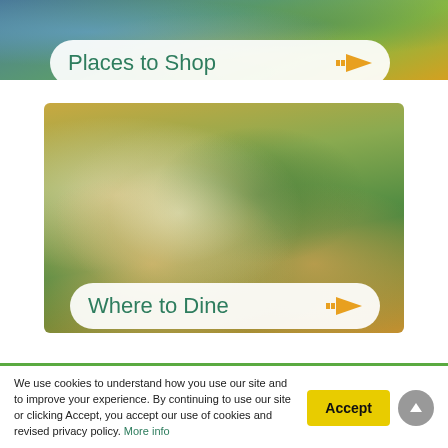[Figure (photo): Top partial image showing a colorful arts and crafts market scene with colorful items]
Places to Shop
[Figure (photo): Photo of a gourmet food dish with grilled fish or chicken, asparagus, lemon, fresh herbs (parsley), tomatoes, and roasted potatoes in a creamy sauce on a white plate]
Where to Dine
We use cookies to understand how you use our site and to improve your experience. By continuing to use our site or clicking Accept, you accept our use of cookies and revised privacy policy. More info